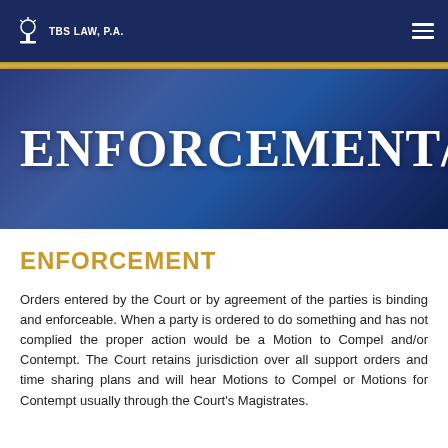TBS LAW, P.A.
[Figure (illustration): Hero banner with blue gradient background showing partial page title 'ENFORCEMENT/CONT']
ENFORCEMENT/CONT
ENFORCEMENT
Orders entered by the Court or by agreement of the parties is binding and enforceable. When a party is ordered to do something and has not complied the proper action would be a Motion to Compel and/or Contempt. The Court retains jurisdiction over all support orders and time sharing plans and will hear Motions to Compel or Motions for Contempt usually through the Court's Magistrates.